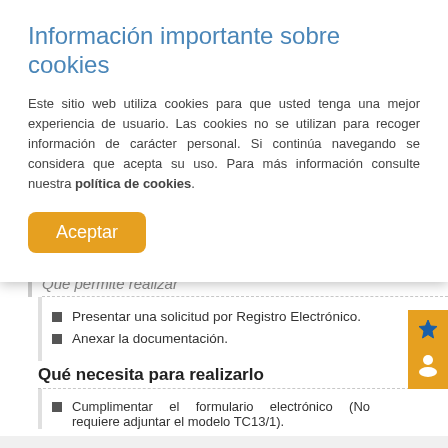Información importante sobre cookies
Este sitio web utiliza cookies para que usted tenga una mejor experiencia de usuario. Las cookies no se utilizan para recoger información de carácter personal. Si continúa navegando se considera que acepta su uso. Para más información consulte nuestra política de cookies.
Aceptar
Qué permite realizar
Presentar una solicitud por Registro Electrónico.
Anexar la documentación.
Qué necesita para realizarlo
Cumplimentar el formulario electrónico (No requiere adjuntar el modelo TC13/1).